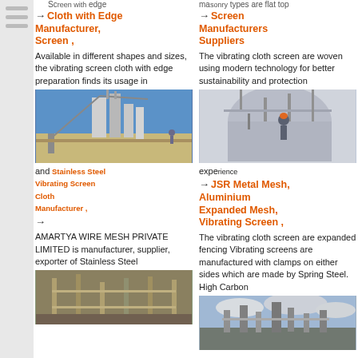Screen with edge
→ Cloth with Edge Manufacturer, Screen ,
Available in different shapes and sizes, the vibrating screen cloth with edge preparation finds its usage in
[Figure (photo): Industrial facility with large silos and crane equipment under blue sky]
masonry types are flat top
→ Screen Manufacturers Suppliers
The vibrating cloth screen are woven using modern technology for better sustainability and protection
[Figure (photo): Worker in industrial setting with machinery]
and
→ Stainless Steel Vibrating Screen Cloth Manufacturer ,
AMARTYA WIRE MESH PRIVATE LIMITED is manufacturer, supplier, exporter of Stainless Steel
[Figure (photo): Construction site with scaffolding and structure]
experience
→ JSR Metal Mesh, Aluminium Expanded Mesh, Vibrating Screen ,
The vibrating cloth screen are expanded fencing Vibrating screens are manufactured with clamps on either sides which are made by Spring Steel. High Carbon
[Figure (photo): Outdoor industrial site with large equipment and cloudy sky]